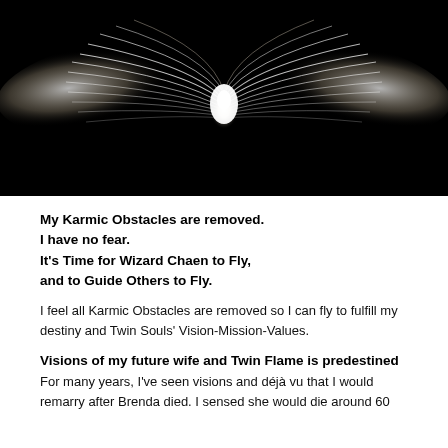[Figure (illustration): A glowing white bird or angel with wings spread wide against a black background, with radiant light emanating from the center body]
My Karmic Obstacles are removed.
I have no fear.
It's Time for Wizard Chaen to Fly,
and to Guide Others to Fly.
I feel all Karmic Obstacles are removed so I can fly to fulfill my destiny and Twin Souls' Vision-Mission-Values.
Visions of my future wife and Twin Flame is predestined
For many years, I've seen visions and déjà vu that I would remarry after Brenda died. I sensed she would die around 60